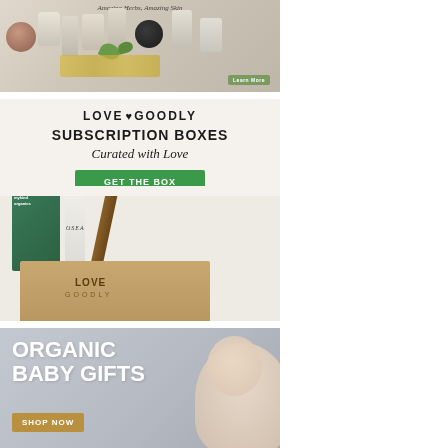[Figure (photo): Advertisement for herbal skincare products with various jars and bottles arranged on a surface. Text reads 'Amazing Herbs, Amazing Skin' with a 'Learn More' button.]
[Figure (photo): Love Goodly subscription box advertisement. Shows logo 'LOVE GOODLY' with heart icon, text 'SUBSCRIPTION BOXES', italic text 'Curated with Love', green button 'GET THE BOX', and product photo showing mykind organics box, OSEA bottle, mascara, and Love Goodly branded box.]
[Figure (photo): Organic Baby Gifts advertisement on grey/lavender background with white bold text 'ORGANIC BABY GIFTS', gold/tan 'SHOP NOW' button, and partial image of a baby on the right side.]